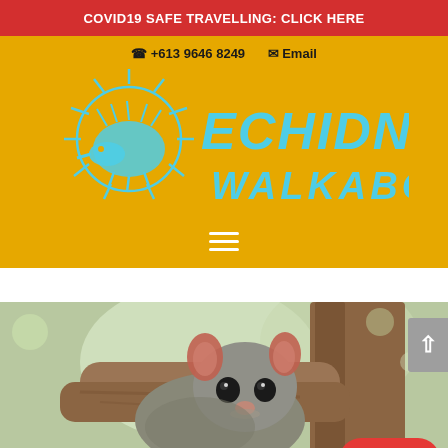COVID19 SAFE TRAVELLING: CLICK HERE
[Figure (logo): Echidna Walkabout logo with phone number +613 9646 8249 and Email link on gold background, featuring a stylized echidna/sun illustration and the text ECHIDNA WALKABOUT in teal/cyan lettering]
[Figure (photo): A possum (common brushtail possum) resting in the fork of a tree, looking directly at camera, with blurred eucalyptus trees in background]